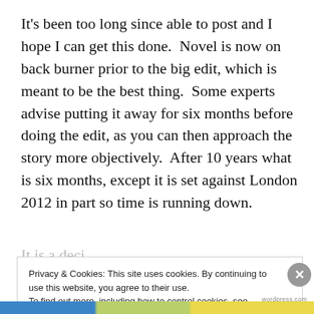It's been too long since able to post and I hope I can get this done.  Novel is now on back burner prior to the big edit, which is meant to be the best thing.  Some experts advise putting it away for six months before doing the edit, as you can then approach the story more objectively.  After 10 years what is six months, except it is set against London 2012 in part so time is running down.
It is a deci...
Privacy & Cookies: This site uses cookies. By continuing to use this website, you agree to their use.
To find out more, including how to control cookies, see here: Cookie Policy
Close and accept